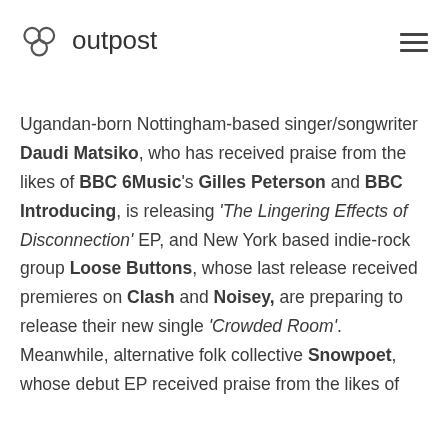outpost
Ugandan-born Nottingham-based singer/songwriter Daudi Matsiko, who has received praise from the likes of BBC 6Music's Gilles Peterson and BBC Introducing, is releasing 'The Lingering Effects of Disconnection' EP, and New York based indie-rock group Loose Buttons, whose last release received premieres on Clash and Noisey, are preparing to release their new single 'Crowded Room'. Meanwhile, alternative folk collective Snowpoet, whose debut EP received praise from the likes of